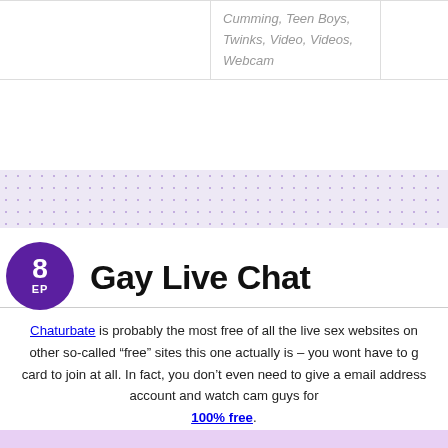|  | Cumming, Teen Boys, Twinks, Video, Videos, Webcam |  |
[Figure (other): Decorative dotted/polka-dot lavender band separator]
Gay Live Chat
Chaturbate is probably the most free of all the live sex websites on other so-called “free” sites this one actually is – you wont have to g card to join at all. In fact, you don’t even need to give a email address account and watch cam guys for 100% free.